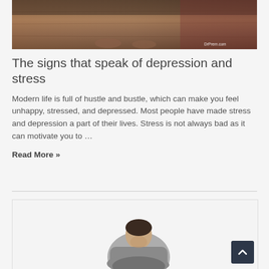[Figure (photo): Top of page photo showing feet/legs of a person sitting on a wooden floor, with a watermark 'DrPrem.com' in the bottom right corner]
The signs that speak of depression and stress
Modern life is full of hustle and bustle, which can make you feel unhappy, stressed, and depressed. Most people have made stress and depression a part of their lives. Stress is not always bad as it can motivate you to …
Read More »
[Figure (photo): Lower photo showing a man in a grey shirt sitting hunched over with his head down, appearing depressed or stressed, on a white background]